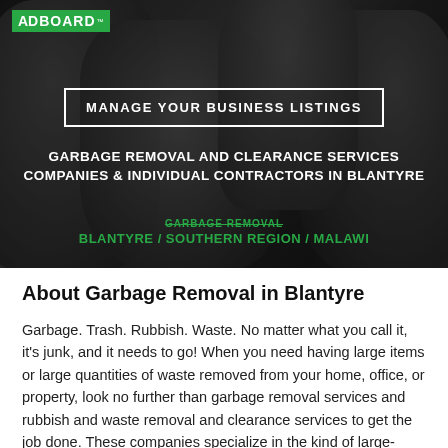[Figure (photo): Hero image showing dark garbage bags piled up, with ADBOARD logo in top left, a 'MANAGE YOUR BUSINESS LISTINGS' button, and text overlays for 'Garbage Removal and Clearance Services Companies & Individual Contractors in Blantyre' with breadcrumb links.]
About Garbage Removal in Blantyre
Garbage. Trash. Rubbish. Waste. No matter what you call it, it's junk, and it needs to go! When you need having large items or large quantities of waste removed from your home, office, or property, look no further than garbage removal services and rubbish and waste removal and clearance services to get the job done. These companies specialize in the kind of large-scale garbage and waste removal that is quite different than